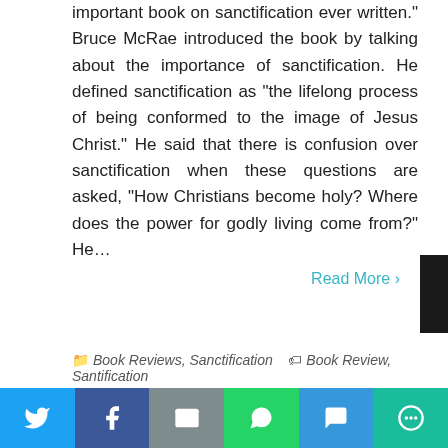important book on sanctification ever written." Bruce McRae introduced the book by talking about the importance of sanctification. He defined sanctification as "the lifelong process of being conformed to the image of Jesus Christ." He said that there is confusion over sanctification when these questions are asked, “How Christians become holy? Where does the power for godly living come from?” He…
Read More ›
📁 Book Reviews, Sanctification 🏷 Book Review, Santification
1  2  NEXT